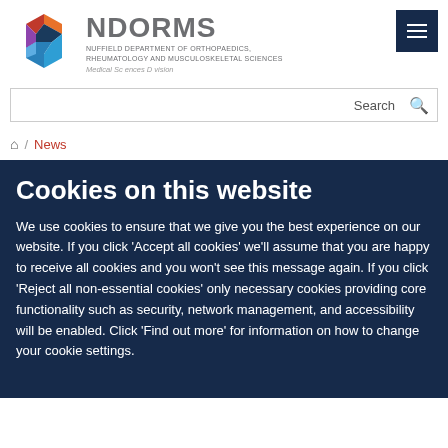[Figure (logo): NDORMS logo: colorful hexagon composed of orange, red, purple, dark blue, light blue segments, alongside the text NDORMS - Nuffield Department of Orthopaedics, Rheumatology and Musculoskeletal Sciences, Medical Sciences Division]
Search
Home / News
Cookies on this website
We use cookies to ensure that we give you the best experience on our website. If you click 'Accept all cookies' we'll assume that you are happy to receive all cookies and you won't see this message again. If you click 'Reject all non-essential cookies' only necessary cookies providing core functionality such as security, network management, and accessibility will be enabled. Click 'Find out more' for information on how to change your cookie settings.